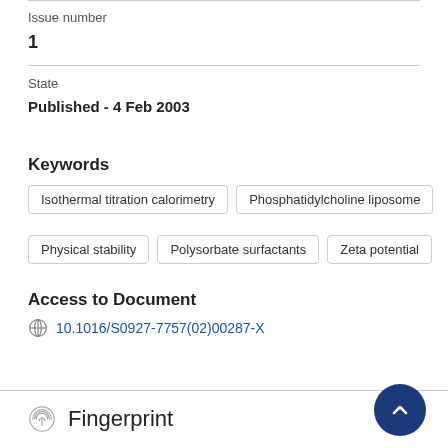Issue number
1
State
Published - 4 Feb 2003
Keywords
Isothermal titration calorimetry
Phosphatidylcholine liposome
Physical stability
Polysorbate surfactants
Zeta potential
Access to Document
10.1016/S0927-7757(02)00287-X
Fingerprint